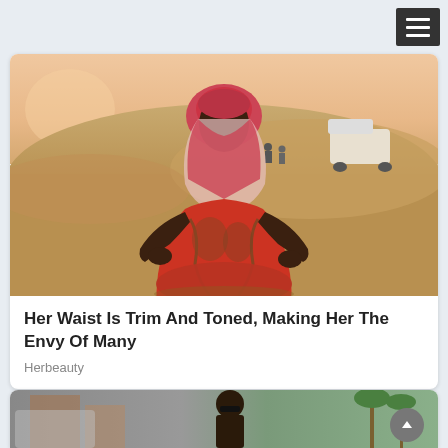[Figure (photo): Hamburger/menu icon button in dark gray in top-right corner on light blue-gray background header bar]
[Figure (photo): Woman wearing a red patterned bodysuit and pink/red keffiyeh headscarf, posing with hands on hips in a desert landscape with sand dunes, a vehicle and people visible in background, sunset sky]
Her Waist Is Trim And Toned, Making Her The Envy Of Many
Herbeauty
[Figure (photo): Partial view of a woman with dark hair in a bun wearing sunglasses, standing near a car with buildings and palm trees in background]